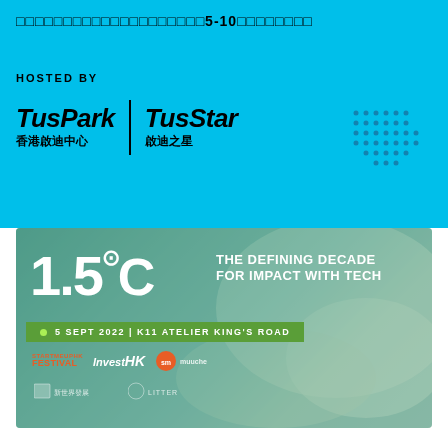□□□□□□□□□□□□□□□□□□□□5-10□□□□□□□□
HOSTED BY
[Figure (logo): TusPark 香港啟迪中心 | TusStar 啟迪之星 logos with dot pattern]
[Figure (infographic): Event banner: 1.5°C THE DEFINING DECADE FOR IMPACT WITH TECH, 5 SEPT 2022 | K11 ATELIER KING'S ROAD, with sponsor logos: STARTMEUPHK FESTIVAL, InvestHK, startmuuche, New World, Litter]
[Figure (infographic): Bottom right icons: phone/email icon and document icon in pink/magenta color]